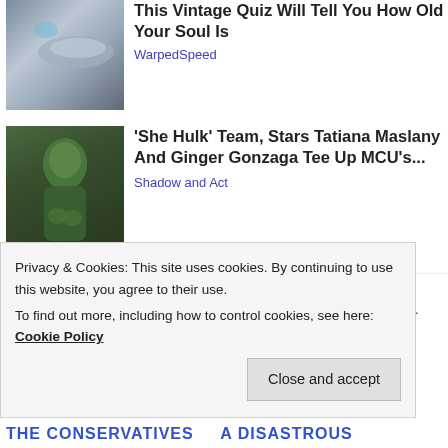[Figure (photo): Car door handle, silver/gray, partial view]
This Vintage Quiz Will Tell You How Old Your Soul Is
WarpedSpeed
[Figure (photo): She Hulk character, green-skinned muscular figure with hands clasped, outdoor setting]
'She Hulk' Team, Stars Tatiana Maslany And Ginger Gonzaga Tee Up MCU's...
Shadow and Act
This entry was posted in Uncategorized and tagged BANK OF ENGLAND, BBC, brexit, CONSERVATIVE, EU, LABOUR, SKY NEWS, ...
Privacy & Cookies: This site uses cookies. By continuing to use this website, you agree to their use.
To find out more, including how to control cookies, see here: Cookie Policy
Close and accept
THE CONSERVATIVES    A DISASTROUS